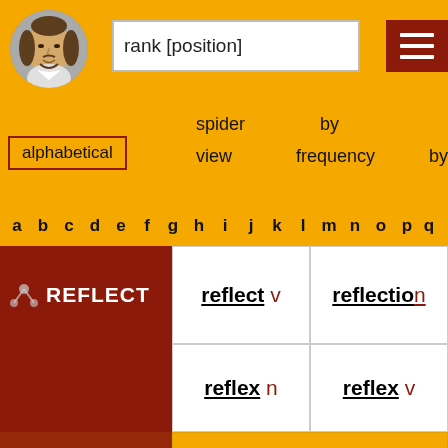[Figure (screenshot): Shakespeare portrait circle icon in header]
rank [position]
[Figure (other): Hamburger menu button (brown square with three white lines)]
alphabetical
spider view
by frequency by
a b c d e f g h i j k l m n o p q
| REFLECT | reflect v | reflection |
|  | reflex n | reflex v |
| ACTION | counter-reflect n |  |
reflect v / reflection / reflex n / reflex v / counter-reflect n